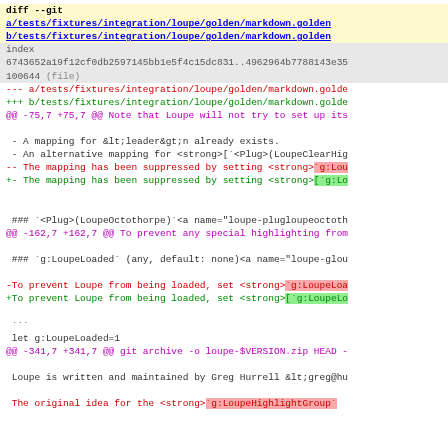diff --git a/tests/fixtures/integration/loupe/golden/markdown.golden b/tests/fixtures/integration/loupe/golden/markdown.golden
index 6743652a19f12cf0db2597145bb1e5f4c15dc831..4962964b7788143e35... 100644 (file)
--- a/tests/fixtures/integration/loupe/golden/markdown.golde
+++ b/tests/fixtures/integration/loupe/golden/markdown.golde
@@ -75,7 +75,7 @@ Note that Loupe will not try to set up its
- A mapping for &lt;leader&gt;n already exists.
- An alternative mapping for <strong>[`<Plug>(LoupeClearHig
-- The mapping has been suppressed by setting <strong>`g:Lou
+- The mapping has been suppressed by setting <strong>[`g:Lo
### `<Plug>(LoupeOctothorpe)`<a name="loupe-plugloupeoctoth
@@ -162,7 +162,7 @@ To prevent any special highlighting from
### `g:LoupeLoaded` (any, default: none)<a name="loupe-glou
-To prevent Loupe from being loaded, set <strong>`g:LoupeLoa
+To prevent Loupe from being loaded, set <strong>[`g:LoupeLo
```
let g:LoupeLoaded=1
@@ -341,7 +341,7 @@ git archive -o loupe-$VERSION.zip HEAD -
Loupe is written and maintained by Greg Hurrell &lt;greg@hu
The original idea for the <strong>`g:LoupeHighlightGroup`